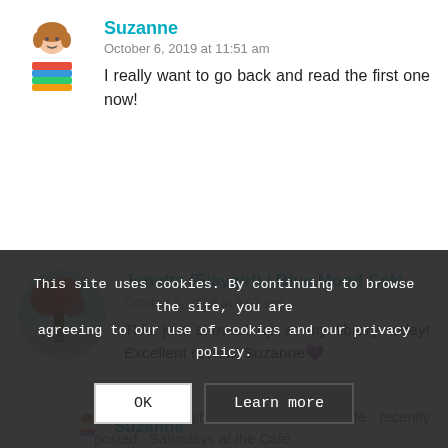Suzanne
October 6, 2019 at 11:51 am
I really want to go back and read the first one now!
Jonetta (Ejaygirl) | Blue Mood Café
October 5, 2019 at 4:07 pm
This just showed up at my library today! Excellent review, Suzanne💜
Jonetta (Ejaygirl) | Blue Mood Café recently posted...Saturdays at the Café
This site uses cookies. By continuing to browse the site, you are agreeing to our use of cookies and our privacy policy.
OK
Learn more
Suzanne